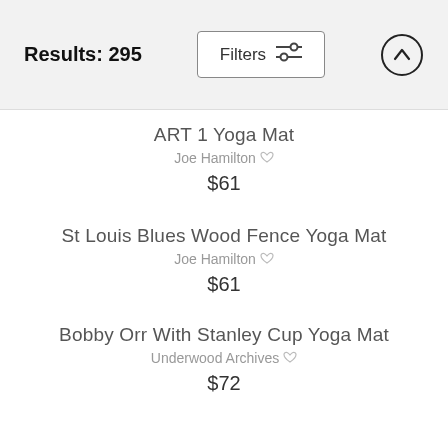Results: 295
ART 1 Yoga Mat
Joe Hamilton
$61
St Louis Blues Wood Fence Yoga Mat
Joe Hamilton
$61
Bobby Orr With Stanley Cup Yoga Mat
Underwood Archives
$72